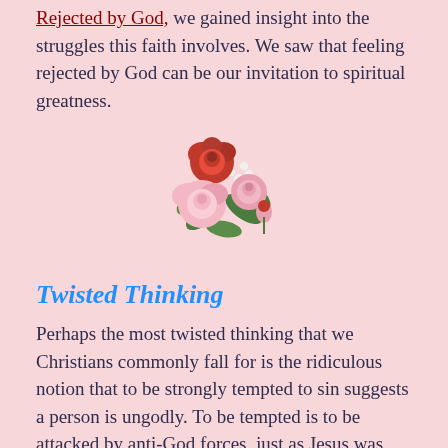Rejected by God, we gained insight into the struggles this faith involves. We saw that feeling rejected by God can be our invitation to spiritual greatness.
[Figure (illustration): A decorative floral bouquet illustration with pink and red roses and green leaves.]
Twisted Thinking
Perhaps the most twisted thinking that we Christians commonly fall for is the ridiculous notion that to be strongly tempted to sin suggests a person is ungodly. To be tempted is to be attacked by anti-God forces, just as Jesus was attacked. The more one refuses to be defeated, the more furious the fight becomes. Someone who always